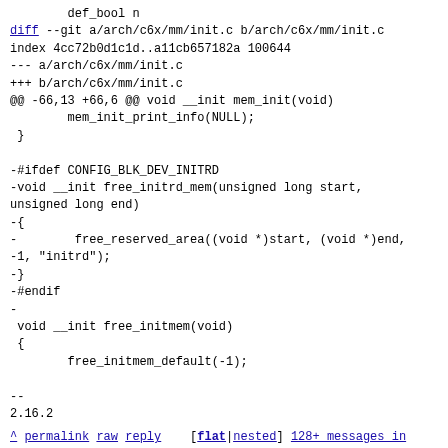def_bool n
diff --git a/arch/c6x/mm/init.c b/arch/c6x/mm/init.c
index 4cc72b0d1c1d..a11cb657182a 100644
--- a/arch/c6x/mm/init.c
+++ b/arch/c6x/mm/init.c
@@ -66,13 +66,6 @@ void __init mem_init(void)
        mem_init_print_info(NULL);
 }

-#ifdef CONFIG_BLK_DEV_INITRD
-void __init free_initrd_mem(unsigned long start,
unsigned long end)
-{
-        free_reserved_area((void *)start, (void *)end,
-1, "initrd");
-}
-#endif
-
 void __init free_initmem(void)
 {
        free_initmem_default(-1);

--
2.16.2
^ permalink raw reply    [flat|nested] 128+ messages in thread
* [PATCH 06/16] frv: Use INITRAMFS_GENERIC_UNLOAD
  2018-03-24 17:44 [PATCH 00/16] Generic infrastructure